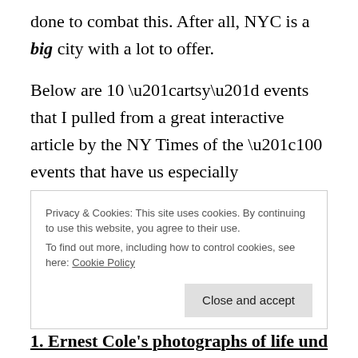done to combat this. After all, NYC is a big city with a lot to offer.
Below are 10 “artsy” events that I pulled from a great interactive article by the NY Times of the “100 events that have us especially excited”. Take a look for yourself to see what you prefer, but here’s my list (it’s not just a music list, for once):
Privacy & Cookies: This site uses cookies. By continuing to use this website, you agree to their use.
To find out more, including how to control cookies, see here: Cookie Policy
Close and accept
1. Ernest Cole's photographs of life under